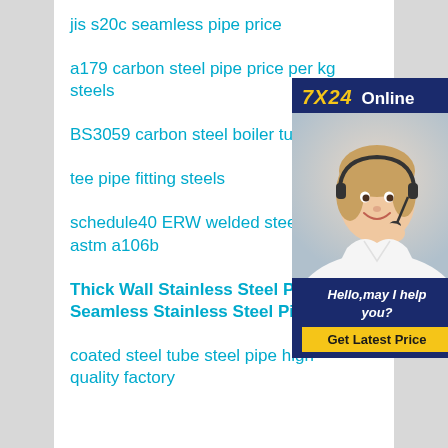jis s20c seamless pipe price
a179 carbon steel pipe price per kg steels
BS3059 carbon steel boiler tube
tee pipe fitting steels
schedule40 ERW welded steel astm a106b
Thick Wall Stainless Steel Pipe Seamless Stainless Steel Pipe
coated steel tube steel pipe high quality factory
[Figure (other): Chat widget with '7X24 Online' header, photo of a woman with headset smiling, text 'Hello, may I help you?' and a yellow 'Get Latest Price' button]